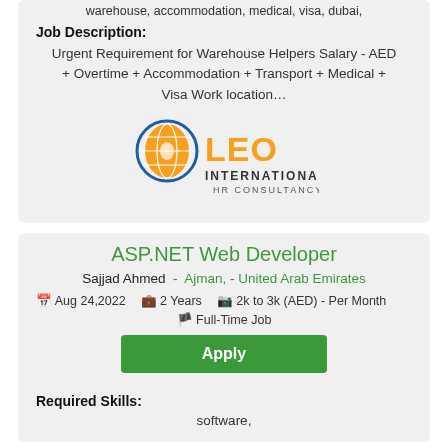warehouse, accommodation, medical, visa, dubai,
Job Description:
Urgent Requirement for Warehouse Helpers Salary - AED + Overtime + Accommodation + Transport + Medical + Visa Work location…
[Figure (logo): LEO International HR Consultancy logo — globe icon in orange/blue with company name]
ASP.NET Web Developer
Sajjad Ahmed  -  Ajman,  -  United Arab Emirates
Aug 24,2022   2 Years   2k to 3k (AED) - Per Month   Full-Time Job
Apply
Required Skills:
software,